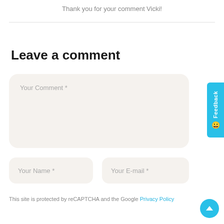Thank you for your comment Vicki!
Leave a comment
Your Comment *
Your Name *
Your E-mail *
This site is protected by reCAPTCHA and the Google Privacy Policy
[Figure (other): Feedback tab button on the right side]
[Figure (other): Scroll to top circular button with upward arrow]